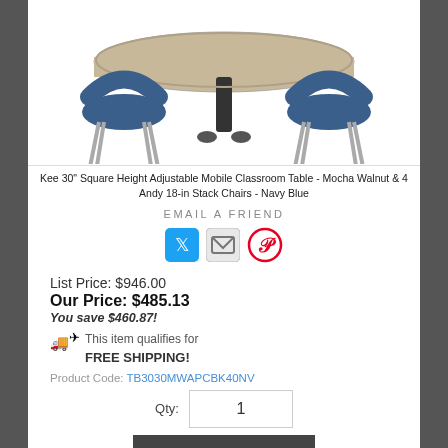[Figure (photo): Product photo of Kee 30 inch Square Height Adjustable Mobile Classroom Table in Mocha Walnut with 4 Andy 18-in Stack Chairs in Navy Blue, shown from above/front angle]
Kee 30" Square Height Adjustable Mobile Classroom Table - Mocha Walnut & 4 Andy 18-in Stack Chairs - Navy Blue
EMAIL A FRIEND
[Figure (infographic): Social sharing icons: Twitter (blue bird icon), Email (envelope icon), Pinterest (red P circle icon)]
List Price: $946.00
Our Price: $485.13
You save $460.87!
This item qualifies for FREE SHIPPING!
Product Code: TB3030MWAPCBK40NV
Qty: 1
ADD TO CART